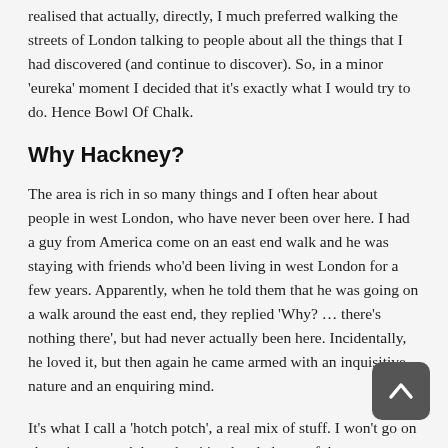realised that actually, directly, I much preferred walking the streets of London talking to people about all the things that I had discovered (and continue to discover). So, in a minor 'eureka' moment I decided that it's exactly what I would try to do. Hence Bowl Of Chalk.
Why Hackney?
The area is rich in so many things and I often hear about people in west London, who have never been over here. I had a guy from America come on an east end walk and he was staying with friends who'd been living in west London for a few years. Apparently, when he told them that he was going on a walk around the east end, they replied 'Why? … there's nothing there', but had never actually been here. Incidentally, he loved it, but then again he came armed with an inquisitive nature and an enquiring mind.
It's what I call a 'hotch potch', a real mix of stuff. I won't go on about it too much here, but it's a heady brew of the past, present and future; Hackney's relationship with the City of London, its borders, its role in major catastrophic